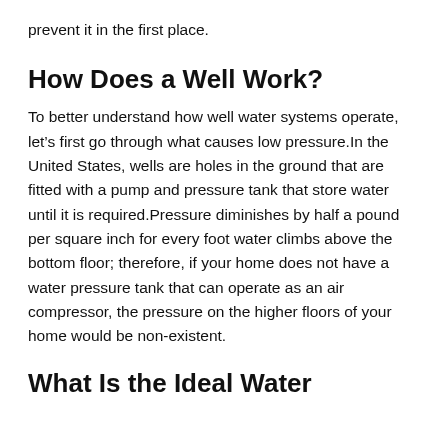prevent it in the first place.
How Does a Well Work?
To better understand how well water systems operate, let’s first go through what causes low pressure.In the United States, wells are holes in the ground that are fitted with a pump and pressure tank that store water until it is required.Pressure diminishes by half a pound per square inch for every foot water climbs above the bottom floor; therefore, if your home does not have a water pressure tank that can operate as an air compressor, the pressure on the higher floors of your home would be non-existent.
What Is the Ideal Water